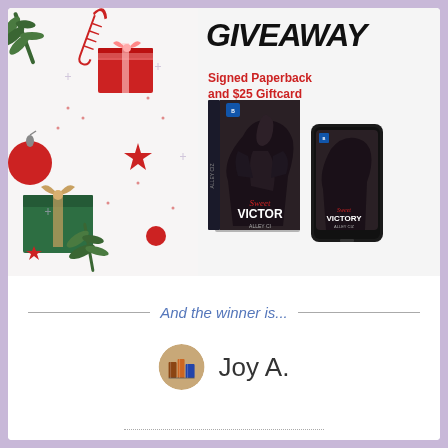[Figure (photo): Christmas themed photo with gifts, candy canes, red ornaments, stars, and pine branches on white background]
GIVEAWAY
Signed Paperback and $25 Giftcard
[Figure (photo): Book cover and phone mockup for 'Sweet Victory' by Alley Ciz showing two people embracing]
And the winner is...
[Figure (photo): Circular profile avatar with books image]
Joy A.